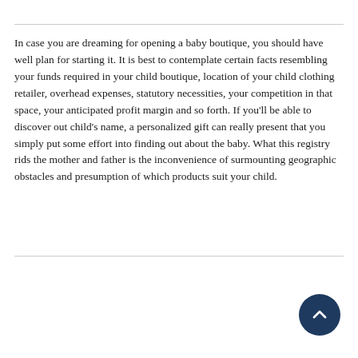In case you are dreaming for opening a baby boutique, you should have well plan for starting it. It is best to contemplate certain facts resembling your funds required in your child boutique, location of your child clothing retailer, overhead expenses, statutory necessities, your competition in that space, your anticipated profit margin and so forth. If you'll be able to discover out child's name, a personalized gift can really present that you simply put some effort into finding out about the baby. What this registry rids the mother and father is the inconvenience of surmounting geographic obstacles and presumption of which products suit your child.